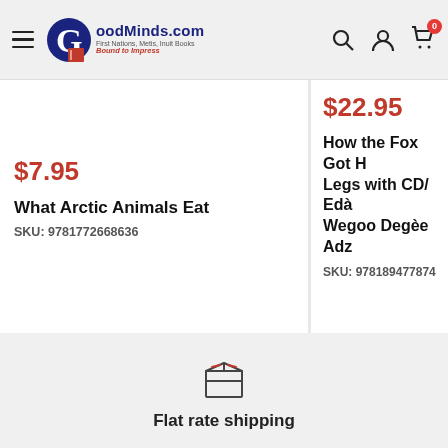GoodMinds.com — First Nations, Metis, Inuit Books — Bound to Impress
$7.95
What Arctic Animals Eat
SKU: 9781772668636
$22.95
How the Fox Got H... Legs with CD/ Edà... Wegoo Degèe Adz...
SKU: 978189477874...
[Figure (illustration): Package/box shipping icon]
Flat rate shipping